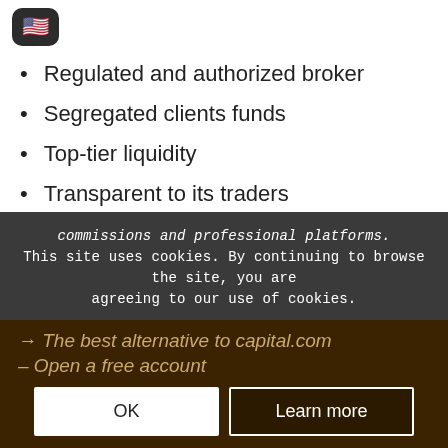[Figure (other): US flag emoji icon in a dark rounded box]
Regulated and authorized broker
Segregated clients funds
Top-tier liquidity
Transparent to its traders
Corporate Governance
Reliable global broker
Implements risk-management
Trade more than 6,000 markets without commissions and professional platforms.
This site uses cookies. By continuing to browse the site, you are agreeing to our use of cookies.
→ The best alternative to capital.com – Open a free account
OK
Learn more